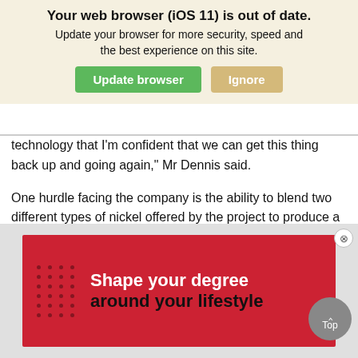[Figure (screenshot): Browser update notification banner with 'Your web browser (iOS 11) is out of date.' title, subtitle 'Update your browser for more security, speed and the best experience on this site.', and two buttons: green 'Update browser' and tan 'Ignore'.]
technology that I’m confident that we can get this thing back up and going again,” Mr Dennis said.
One hurdle facing the company is the ability to blend two different types of nickel offered by the project to produce a nickel metal, which will achieve a higher price on the market, as opposed to a concentrate, which is normally sold to BHP Billiton.
Currently, Mt Windarra has a nickel resource of 60,000t and Mr Singleton estimates a further 50,000t of nickel, worth about $1.5
[Figure (screenshot): Red advertisement banner reading 'Shape your degree around your lifestyle' with dot pattern decoration on left side.]